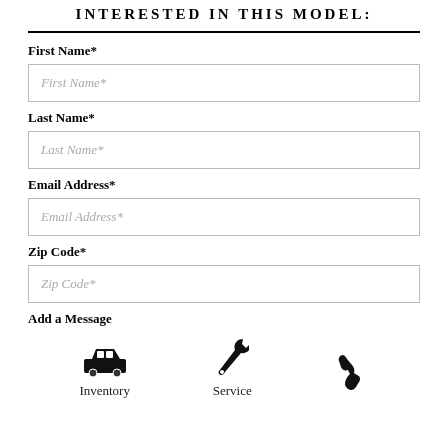INTERESTED IN THIS MODEL:
First Name*
First Name*
Last Name*
Last Name*
Email Address*
Email Address*
Zip Code*
Zip Code*
Add a Message
[Figure (illustration): Three icons at bottom: car/inventory icon, wrench/service icon, phone icon with labels Inventory and Service]
Inventory
Service